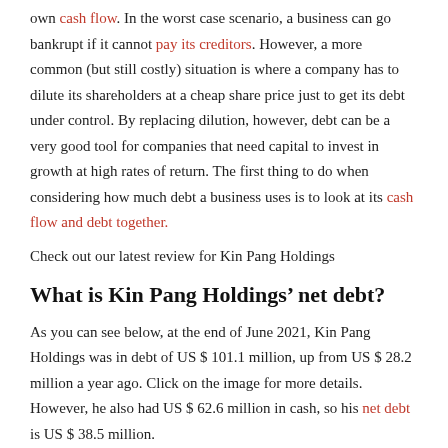own cash flow. In the worst case scenario, a business can go bankrupt if it cannot pay its creditors. However, a more common (but still costly) situation is where a company has to dilute its shareholders at a cheap share price just to get its debt under control. By replacing dilution, however, debt can be a very good tool for companies that need capital to invest in growth at high rates of return. The first thing to do when considering how much debt a business uses is to look at its cash flow and debt together.
Check out our latest review for Kin Pang Holdings
What is Kin Pang Holdings’ net debt?
As you can see below, at the end of June 2021, Kin Pang Holdings was in debt of US $ 101.1 million, up from US $ 28.2 million a year ago. Click on the image for more details. However, he also had US $ 62.6 million in cash, so his net debt is US $ 38.5 million.
SEHK: 1722 Debt to equity history/ December 17, 2021